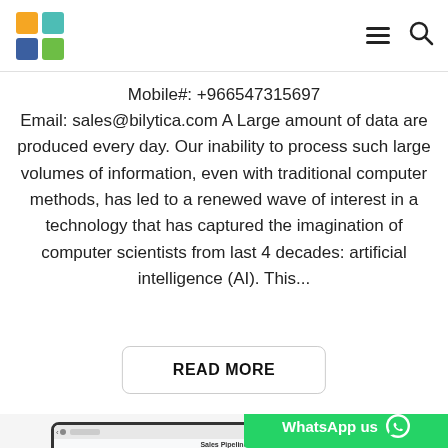[Logo: Bilytica] [Hamburger menu] [Search icon]
Mobile#: +966547315697
Email: sales@bilytica.com A Large amount of data are produced every day. Our inability to process such large volumes of information, even with traditional computer methods, has led to a renewed wave of interest in a technology that has captured the imagination of computer scientists from last 4 decades: artificial intelligence (AI). This...
READ MORE
[Figure (screenshot): Dashboard screenshot showing a Sales Pipeline report with bar charts and a pie chart. Labels include 'Pipeline & Active Opportunities', 'Won This Month' with value 59, and 'Estimated Revenue' showing $1,459M.]